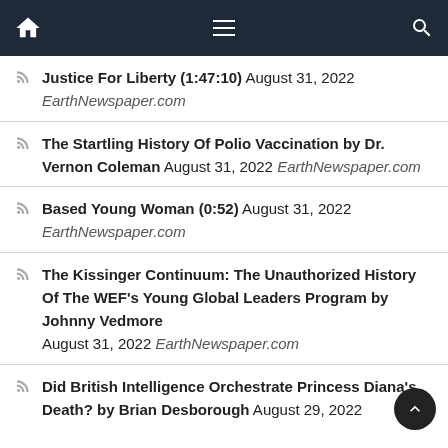Navigation bar with home, menu, and search icons
Justice For Liberty (1:47:10) August 31, 2022 EarthNewspaper.com
The Startling History Of Polio Vaccination by Dr. Vernon Coleman August 31, 2022 EarthNewspaper.com
Based Young Woman (0:52) August 31, 2022 EarthNewspaper.com
The Kissinger Continuum: The Unauthorized History Of The WEF's Young Global Leaders Program by Johnny Vedmore August 31, 2022 EarthNewspaper.com
Did British Intelligence Orchestrate Princess Diana's Death? by Brian Desborough August 29, 2022